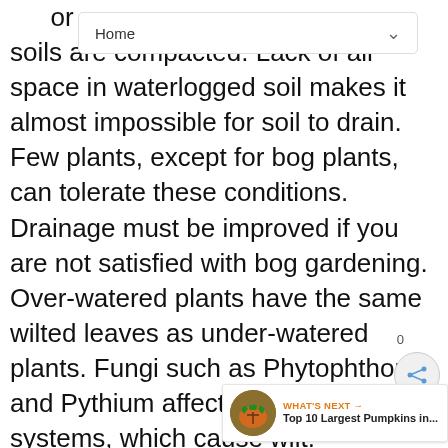Home
soils are compacted. Lack of air space in waterlogged soil makes it almost impossible for soil to drain. Few plants, except for bog plants, can tolerate these conditions. Drainage must be improved if you are not satisfied with bog gardening. Over-watered plants have the same wilted leaves as under-watered plants. Fungi such as Phytophthora and Pythium affect vascular systems, which cause wilt. If the problem is only on the surface, it maybe diverted to a drainage ditch. If drainage is poor where water table is high, install an underground drainage system. You should contact a contractor for this. If underground drains already exist, check to see if they are blocked.